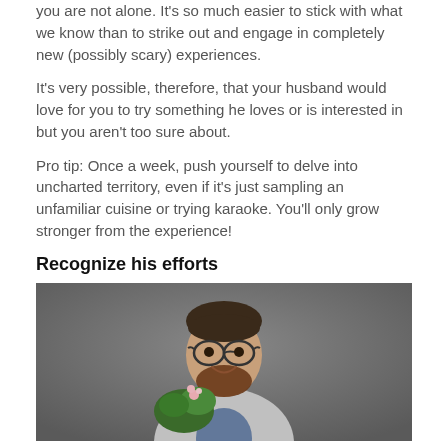you are not alone. It's so much easier to stick with what we know than to strike out and engage in completely new (possibly scary) experiences.
It's very possible, therefore, that your husband would love for you to try something he loves or is interested in but you aren't too sure about.
Pro tip: Once a week, push yourself to delve into uncharted territory, even if it's just sampling an unfamiliar cuisine or trying karaoke. You'll only grow stronger from the experience!
Recognize his efforts
[Figure (photo): A smiling bearded man with glasses holding a flowering plant, photographed against a dark grey background]